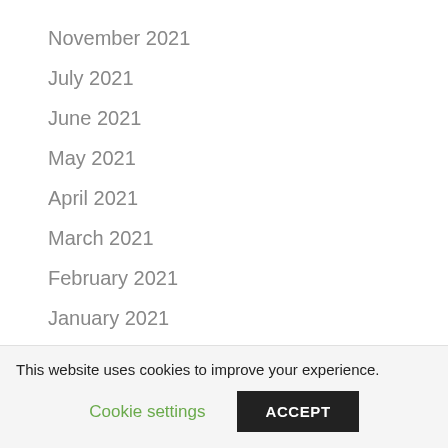November 2021
July 2021
June 2021
May 2021
April 2021
March 2021
February 2021
January 2021
December 2020
November 2020
October 2020
September 2020
This website uses cookies to improve your experience.
Cookie settings
ACCEPT